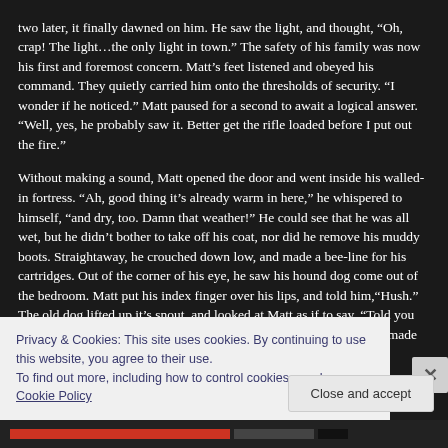two later, it finally dawned on him. He saw the light, and thought, “Oh, crap! The light…the only light in town.” The safety of his family was now his first and foremost concern. Matt’s feet listened and obeyed his command. They quietly carried him onto the thresholds of security. “I wonder if he noticed.” Matt paused for a second to await a logical answer. “Well, yes, he probably saw it. Better get the rifle loaded before I put out the fire.”
Without making a sound, Matt opened the door and went inside his walled-in fortress. “Ah, good thing it’s already warm in here,” he whispered to himself, “and dry, too. Damn that weather!” He could see that he was all wet, but he didn’t bother to take off his coat, nor did he remove his muddy boots. Straightaway, he crouched down low, and made a bee-line for his cartridges. Out of the corner of his eye, he saw his hound dog come out of the bedroom. Matt put his index finger over his lips, and told him,“Hush.” The old dog lifted up it’s snout, and looked at Matt as if to say, “Told you so.” Then it turned, and went back to lay at the foot of his bed. Matt made short work of his task, and in
Privacy & Cookies: This site uses cookies. By continuing to use this website, you agree to their use.
To find out more, including how to control cookies, see here: Cookie Policy